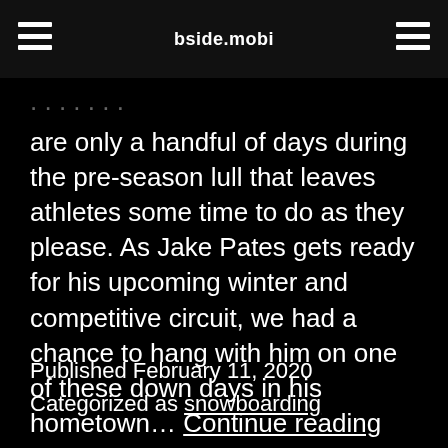bside.mobi
are only a handful of days during the pre-season lull that leaves athletes some time to do as they please. As Jake Pates gets ready for his upcoming winter and competitive circuit, we had a chance to hang with him on one of these down days in his hometown… Continue reading
Published February 11, 2020
Categorized as snowboarding